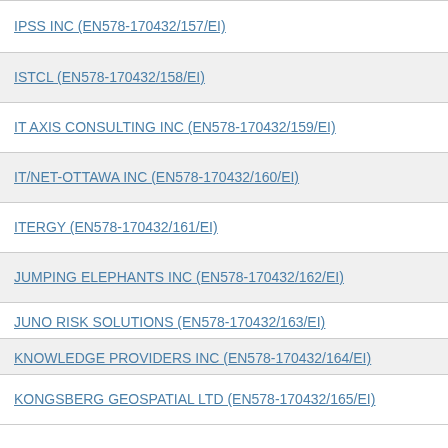IPSS INC (EN578-170432/157/EI)
ISTCL (EN578-170432/158/EI)
IT AXIS CONSULTING INC (EN578-170432/159/EI)
IT/NET-OTTAWA INC (EN578-170432/160/EI)
ITERGY (EN578-170432/161/EI)
JUMPING ELEPHANTS INC (EN578-170432/162/EI)
JUNO RISK SOLUTIONS (EN578-170432/163/EI)
KNOWLEDGE PROVIDERS INC (EN578-170432/164/EI)
KONGSBERG GEOSPATIAL LTD (EN578-170432/165/EI)